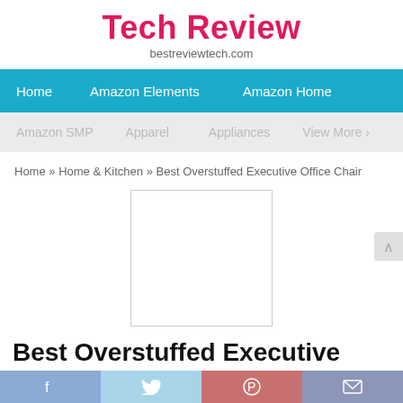Tech Review
bestreviewtech.com
Home   Amazon Elements   Amazon Home
Amazon SMP   Apparel   Appliances   View More »
Home » Home & Kitchen » Best Overstuffed Executive Office Chair
[Figure (other): Blank white placeholder image box for product image]
Best Overstuffed Executive